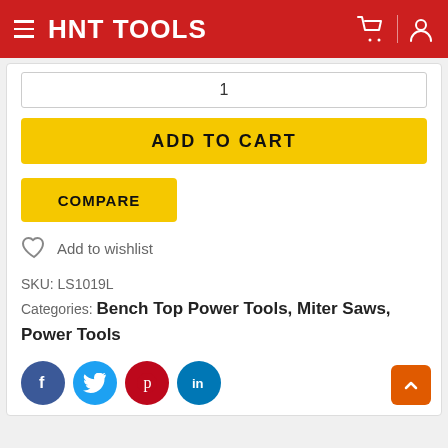HNT TOOLS
1
ADD TO CART
COMPARE
Add to wishlist
SKU: LS1019L
Categories: Bench Top Power Tools, Miter Saws, Power Tools